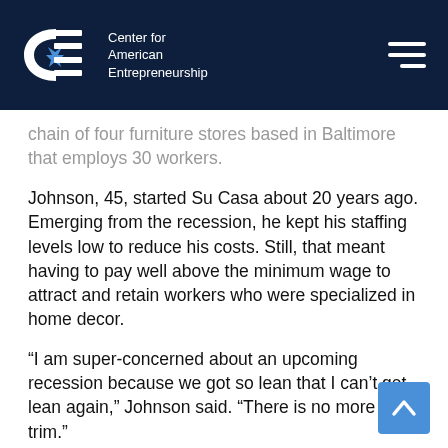Center for American Entrepreneurship
chain of four furniture stores based in Baltimore that employs 30 workers.
Johnson, 45, started Su Casa about 20 years ago. Emerging from the recession, he kept his staffing levels low to reduce his costs. Still, that meant having to pay well above the minimum wage to attract and retain workers who were specialized in home decor.
“I am super-concerned about an upcoming recession because we got so lean that I can’t get lean again,” Johnson said. “There is no more fat to trim.”
Goldman Sachs on Thursday is releasing a survey of